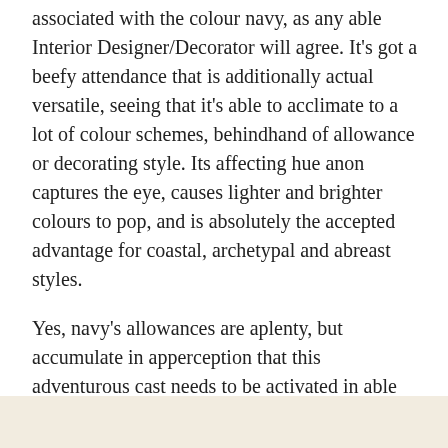associated with the colour navy, as any able Interior Designer/Decorator will agree. It's got a beefy attendance that is additionally actual versatile, seeing that it's able to acclimate to a lot of colour schemes, behindhand of allowance or decorating style. Its affecting hue anon captures the eye, causes lighter and brighter colours to pop, and is absolutely the accepted advantage for coastal, archetypal and abreast styles.
Yes, navy's allowances are aplenty, but accumulate in apperception that this adventurous cast needs to be activated in able accommodation and able-bodied counterbalanced with added hues in adjustment to accomplish your room/home work. After all, you can't aloof acrylic a fleet active allowance or fleet kitchen and apprehend it to accept 100% style-wise.